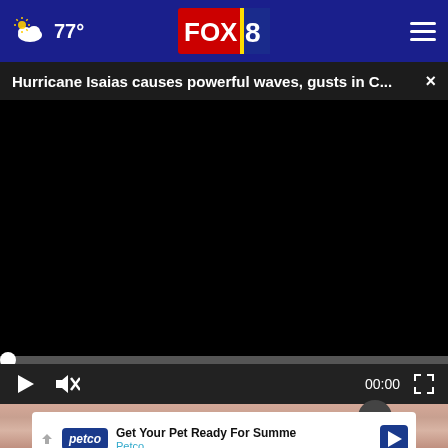77° FOX 8
Hurricane Isaias causes powerful waves, gusts in C... ×
[Figure (screenshot): Black video player with progress bar at 0:00, play button, mute button, and fullscreen button. Controls bar at bottom.]
[Figure (photo): Close-up photo of elderly person's lips/mouth area, partially visible]
Get Your Pet Ready For Summe
Petco